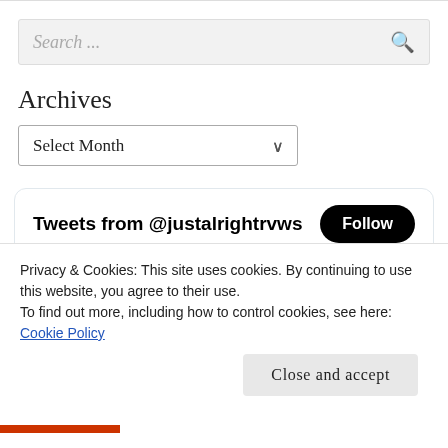[Figure (screenshot): Search input box with placeholder text 'Search ...' and a search icon on the right]
Archives
[Figure (screenshot): Dropdown select element with 'Select Month' option and a chevron]
[Figure (screenshot): Twitter widget showing 'Tweets from @justalrightrvws' with a Follow button and a tweet from Just Alright R... @justa... Feb 25, 2019]
Privacy & Cookies: This site uses cookies. By continuing to use this website, you agree to their use.
To find out more, including how to control cookies, see here: Cookie Policy
Close and accept